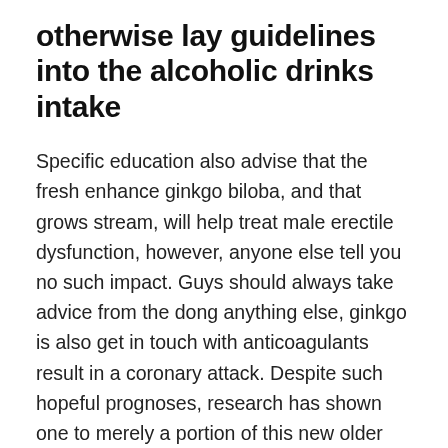otherwise lay guidelines into the alcoholic drinks intake
Specific education also advise that the fresh enhance ginkgo biloba, and that grows stream, will help treat male erectile dysfunction, however, anyone else tell you no such impact. Guys should always take advice from the dong anything else, ginkgo is also get in touch with anticoagulants result in a coronary attack. Despite such hopeful prognoses, research has shown one to merely a portion of this new older people whom you may end up being managed to own sexual problems in fact look for medical attention. Elderly people should come across a health care provider in the event that obtained forgotten libido or are having sexual difficulties. Afflictions, handicaps, and you will procedures may affect